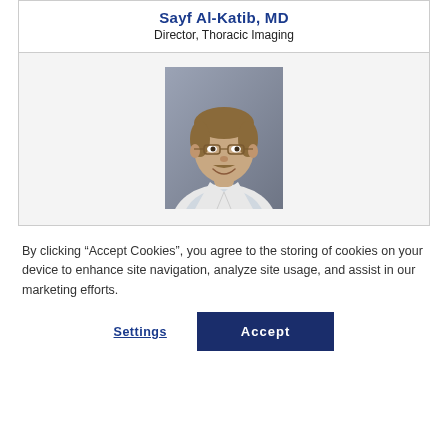Sayf Al-Katib, MD
Director, Thoracic Imaging
[Figure (photo): Professional headshot of Dr. Sayf Al-Katib, MD, wearing glasses and a white lab coat, smiling, against a grey background.]
By clicking “Accept Cookies”, you agree to the storing of cookies on your device to enhance site navigation, analyze site usage, and assist in our marketing efforts.
Settings
Accept